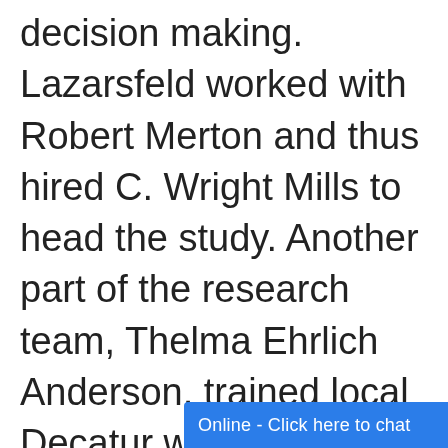decision making. Lazarsfeld worked with Robert Merton and thus hired C. Wright Mills to head the study. Another part of the research team, Thelma Ehrlich Anderson, trained local Decatur women to administer surveys to targeted wo...